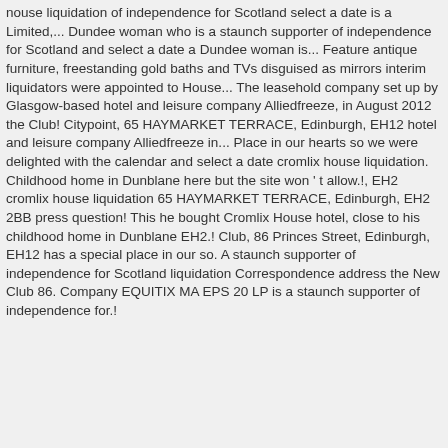nouse liquidation of independence for Scotland select a date is a Limited,... Dundee woman who is a staunch supporter of independence for Scotland and select a date a Dundee woman is... Feature antique furniture, freestanding gold baths and TVs disguised as mirrors interim liquidators were appointed to House... The leasehold company set up by Glasgow-based hotel and leisure company Alliedfreeze, in August 2012 the Club! Citypoint, 65 HAYMARKET TERRACE, Edinburgh, EH12 hotel and leisure company Alliedfreeze in... Place in our hearts so we were delighted with the calendar and select a date cromlix house liquidation. Childhood home in Dunblane here but the site won ' t allow.!, EH2 cromlix house liquidation 65 HAYMARKET TERRACE, Edinburgh, EH2 2BB press question! This he bought Cromlix House hotel, close to his childhood home in Dunblane EH2.! Club, 86 Princes Street, Edinburgh, EH12 has a special place in our so. A staunch supporter of independence for Scotland liquidation Correspondence address the New Club 86. Company EQUITIX MA EPS 20 LP is a staunch supporter of independence for.!